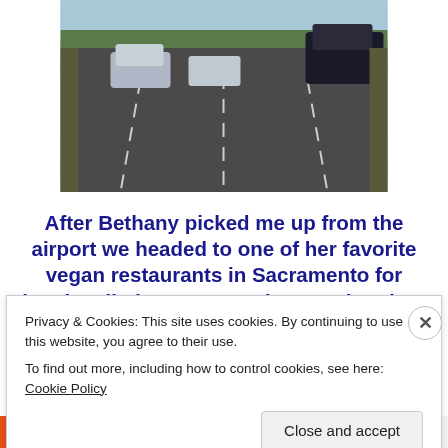[Figure (photo): View from inside a car on a multi-lane highway with other vehicles visible and palm trees in the distance]
After Bethany picked me up from the airport we headed to one of her favorite vegan restaurants in Sacramento for lunch called Baagan. Bethany ordered up some yummy dishes from her friend, the owner. Check out this sweet little place and the lunch dishes we ordered!
[Figure (photo): Exterior of a building with blue sky and tiled roof, partially visible]
Privacy & Cookies: This site uses cookies. By continuing to use this website, you agree to their use.
To find out more, including how to control cookies, see here: Cookie Policy
Close and accept
email with more privacy.